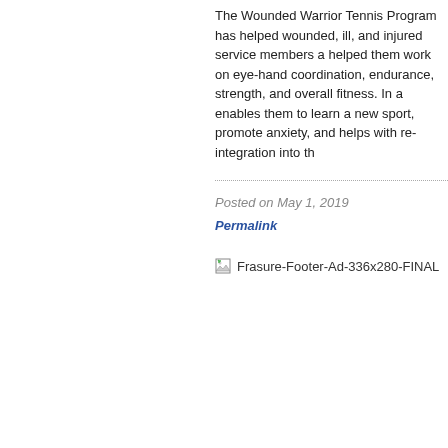The Wounded Warrior Tennis Program has ... wounded, ill, and injured service members a... helped them work on eye-hand coordination... endurance, strength, and overall fitness. In a... enables them to learn a new sport, promote... anxiety, and helps with re-integration into th...
Posted on May 1, 2019
Permalink
[Figure (other): Broken image placeholder labeled Frasure-Footer-Ad-336x280-FINAL]